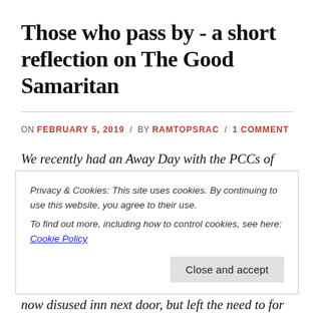Those who pass by - a short reflection on The Good Samaritan
ON FEBRUARY 5, 2019 / BY RAMTOPSRAC / 1 COMMENT
We recently had an Away Day with the PCCs of our Benefice. In the opening worship I used a reflection on the scripture: Luke 10:25-37 The Good...
now disused inn next door, but left the need to for...